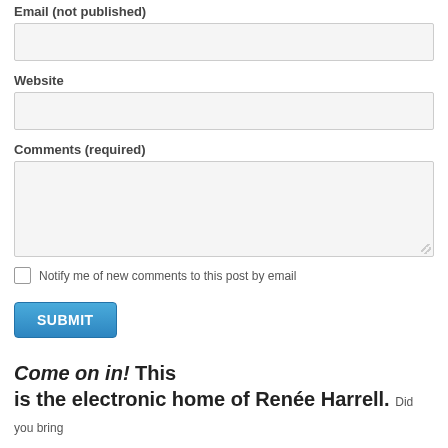Email (not published)
Website
Comments (required)
Notify me of new comments to this post by email
SUBMIT
Come on in! This is the electronic home of Renée Harrell. Did you bring